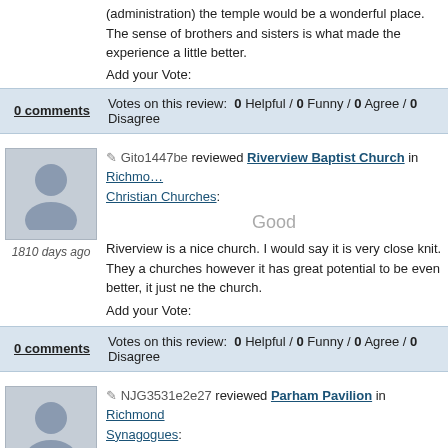(administration) the temple would be a wonderful place. The sense of brothers and sisters is what made the experience a little better.
Add your Vote:
0 comments   Votes on this review:  0 Helpful / 0 Funny / 0 Agree / 0 Disagree
Gito1447be reviewed Riverview Baptist Church in Richmond Christian Churches:
Good
1810 days ago
Riverview is a nice church. I would say it is very close knit. They a churches however it has great potential to be even better, it just ne the church.
Add your Vote:
0 comments   Votes on this review:  0 Helpful / 0 Funny / 0 Agree / 0 Disagree
NJG3531e2e27 reviewed Parham Pavilion in Richmond Synagogues:
Great!
1825 days ago
Parham Pavilion is a great space for almost any function....weddin Staffing great to work with. The location is close to the Mill